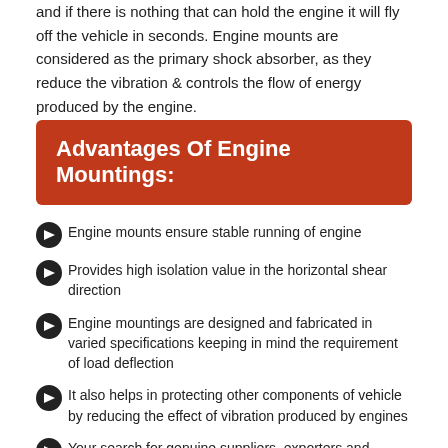and if there is nothing that can hold the engine it will fly off the vehicle in seconds. Engine mounts are considered as the primary shock absorber, as they reduce the vibration & controls the flow of energy produced by the engine.
Advantages Of Engine Mountings:
Engine mounts ensure stable running of engine
Provides high isolation value in the horizontal shear direction
Engine mountings are designed and fabricated in varied specifications keeping in mind the requirement of load deflection
It also helps in protecting other components of vehicle by reducing the effect of vibration produced by engines
Your search for genuine suppliers, exporters and manufacturers of